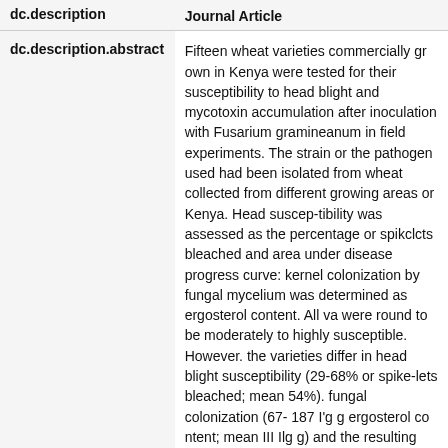| dc.description | Journal Article |
| --- | --- |
| dc.description.abstract | Fifteen wheat varieties commercially grown in Kenya were tested for their susceptibility to head blight and mycotoxin accumulation after inoculation with Fusarium gramineanun in field experiments. The strain or the pathogen used had been isolated from wheat collected from different growing areas or Kenya. Head suscep¬tibility was assessed as the percentage or spikclcts bleached and area under disease progress curve: kernel colonization by fungal mycelium was determined as ergosterol content. All va were round to be moderately to highly susceptible. However. the varieties differ in head blight susceptibility (29-68% or spike¬lets bleached; mean 54%). fungal colonization (67- 187 I'g g ergosterol co mean III Ilg g) and the resulting mycotoxin contamination [deoxynivalenol (DON) 5 Jlg g: mean 13.5 I'g g], Grain weight reductions due to head blight ranged fr |